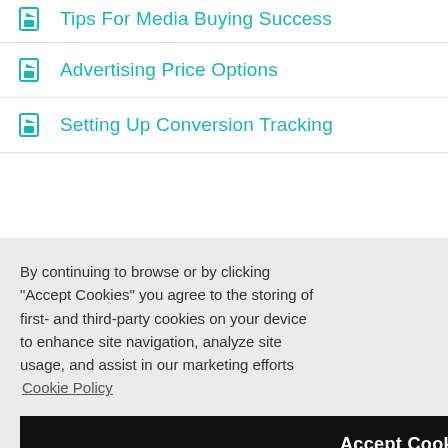Tips For Media Buying Success
Advertising Price Options
Setting Up Conversion Tracking
By continuing to browse or by clicking "Accept Cookies" you agree to the storing of first- and third-party cookies on your device to enhance site navigation, analyze site usage, and assist in our marketing efforts Cookie Policy
Accept Cookies